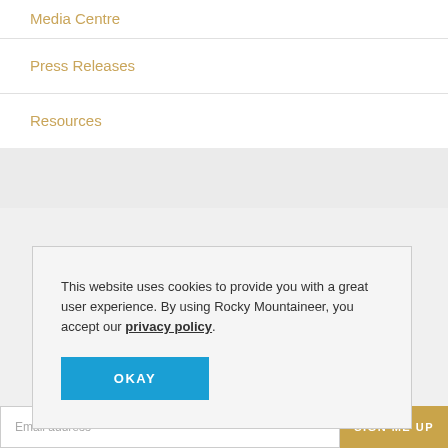Media Centre
Press Releases
Resources
This website uses cookies to provide you with a great user experience. By using Rocky Mountaineer, you accept our privacy policy.
OKAY
Email address
SIGN ME UP